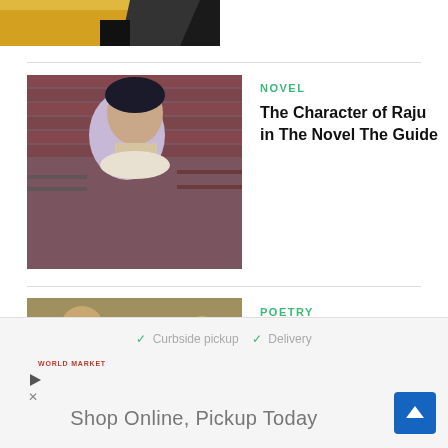[Figure (photo): Partial top image crop, comic or illustrated style with yellow and dark tones]
[Figure (photo): Photo of a man in profile view with scarf, in front of a brick background, likely actor or Indian figure related to The Guide]
NOVEL
The Character of Raju in The Novel The Guide
[Figure (photo): Painting or sculpture of a burial scene with robed figures and a dead Christ figure, religious artwork]
POETRY
The Burial of The Dead: by T.S Eliot - Summary & Analysis
✓ Curbside pickup  ✓ Delivery
WORLD MARKET
Shop Online, Pickup Today